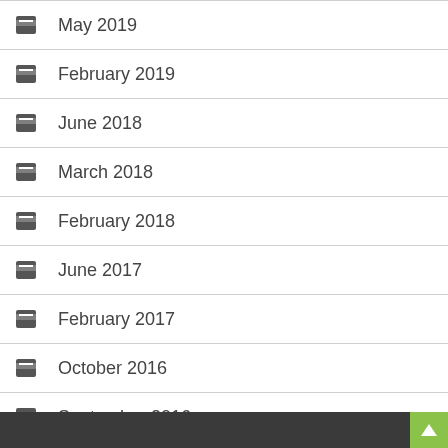May 2019
February 2019
June 2018
March 2018
February 2018
June 2017
February 2017
October 2016
September 2016
July 2015
December 2014